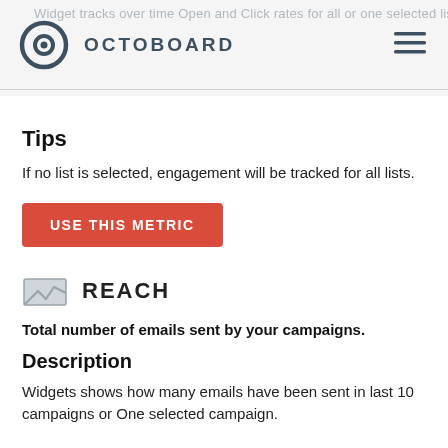OCTOBOARD
Widget tracks over time Open and Click rates for all or one selected list.
Tips
If no list is selected, engagement will be tracked for all lists.
USE THIS METRIC
REACH
Total number of emails sent by your campaigns.
Description
Widgets shows how many emails have been sent in last 10 campaigns or One selected campaign.